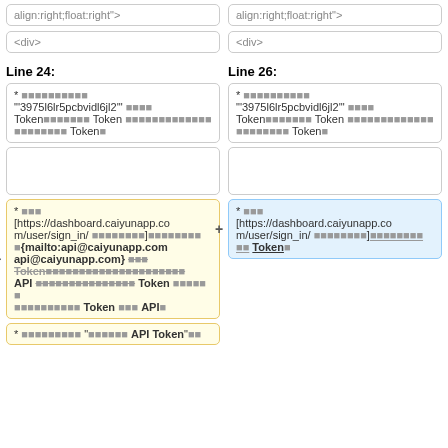align:right;float:right"> (left column top code box)
align:right;float:right"> (right column top code box)
<div> (left column second code box)
<div> (right column second code box)
Line 24:
Line 26:
* ■■■■■■■■■■ "'3975l6lr5pcbvidl6jl2'" ■■■■ Token■■■■■■■ Token ■■■■■■■■■■■■■ ■■■■■■■■ Token■
* ■■■■■■■■■■ "'3975l6lr5pcbvidl6jl2'" ■■■■ Token■■■■■■■ Token ■■■■■■■■■■■■■ ■■■■■■■■ Token■
(empty box left)
(empty box right)
- * ■■■ [https://dashboard.caiyunapp.com/user/sign_in/ ■■■■■■■■]■■■■■■■■ ■{mailto:api@caiyunapp.com api@caiyunapp.com} ■■■ Token■■■■■■■■■■■■■■■■■■■■■ API ■■■■■■■■■■■■■■■ Token ■■■■■■ ■■■■■■■■■■ Token ■■■ API■
+ * ■■■ [https://dashboard.caiyunapp.com/user/sign_in/ ■■■■■■■■]■■■■■■■■ ■■ Token■
* ■■■■■■■■■ "■■■■■■ API Token"■■ (partial bottom box)